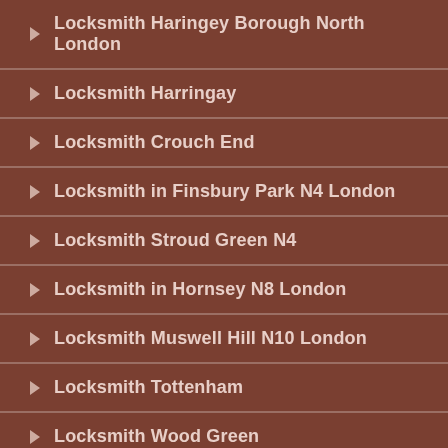Locksmith Haringey Borough North London
Locksmith Harringay
Locksmith Crouch End
Locksmith in Finsbury Park N4 London
Locksmith Stroud Green N4
Locksmith in Hornsey N8 London
Locksmith Muswell Hill N10 London
Locksmith Tottenham
Locksmith Wood Green
Locksmith Enfield Borough North London
Locksmith in Edmonton N9 London